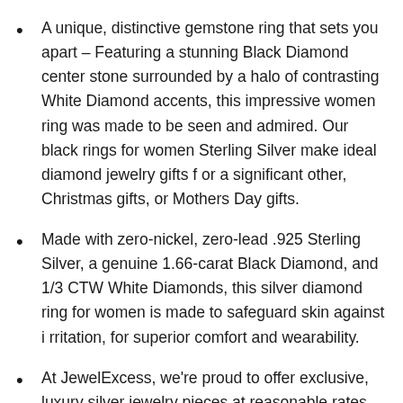A unique, distinctive gemstone ring that sets you apart – Featuring a stunning Black Diamond center stone surrounded by a halo of contrasting White Diamond accents, this impressive women ring was made to be seen and admired. Our black rings for women Sterling Silver make ideal diamond jewelry gifts f or a significant other, Christmas gifts, or Mothers Day gifts.
Made with zero-nickel, zero-lead .925 Sterling Silver, a genuine 1.66-carat Black Diamond, and 1/3 CTW White Diamonds, this silver diamond ring for women is made to safeguard skin against i rritation, for superior comfort and wearability.
At JewelExcess, we're proud to offer exclusive, luxury silver jewelry pieces at reasonable rates. We craft our 925 Sterling Silver rings for women with care to give our customers the absolute best